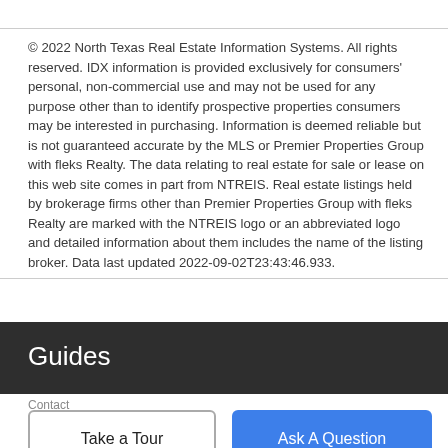© 2022 North Texas Real Estate Information Systems. All rights reserved. IDX information is provided exclusively for consumers' personal, non-commercial use and may not be used for any purpose other than to identify prospective properties consumers may be interested in purchasing. Information is deemed reliable but is not guaranteed accurate by the MLS or Premier Properties Group with fleks Realty. The data relating to real estate for sale or lease on this web site comes in part from NTREIS. Real estate listings held by brokerage firms other than Premier Properties Group with fleks Realty are marked with the NTREIS logo or an abbreviated logo and detailed information about them includes the name of the listing broker. Data last updated 2022-09-02T23:43:46.933.
Guides
Contact
Take a Tour
Ask A Question